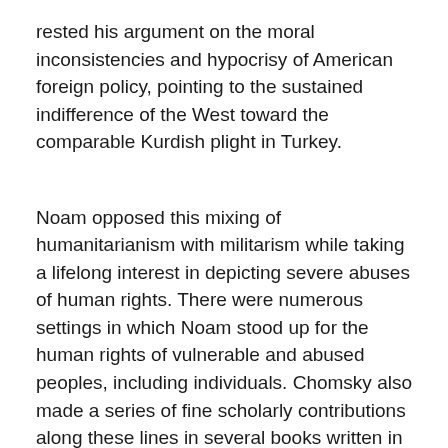rested his argument on the moral inconsistencies and hypocrisy of American foreign policy, pointing to the sustained indifference of the West toward the comparable Kurdish plight in Turkey.
Noam opposed this mixing of humanitarianism with militarism while taking a lifelong interest in depicting severe abuses of human rights. There were numerous settings in which Noam stood up for the human rights of vulnerable and abused peoples, including individuals. Chomsky also made a series of fine scholarly contributions along these lines in several books written in collaboration with the late Edward S. Herman.